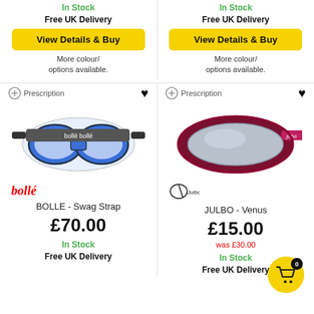In Stock
Free UK Delivery
View Details & Buy
More colour/ options available.
In Stock
Free UK Delivery
View Details & Buy
More colour/ options available.
Prescription
[Figure (photo): Blue Bollé Swag Strap prescription ski goggles with clear lenses and black elastic strap]
bollé
BOLLE - Swag Strap
£70.00
In Stock
Free UK Delivery
Prescription
[Figure (photo): Red/burgundy Julbo Venus ski goggles with mirrored silver lenses and pink/red strap]
Julbo logo
JULBO - Venus
£15.00
was £30.00
In Stock
Free UK Delivery